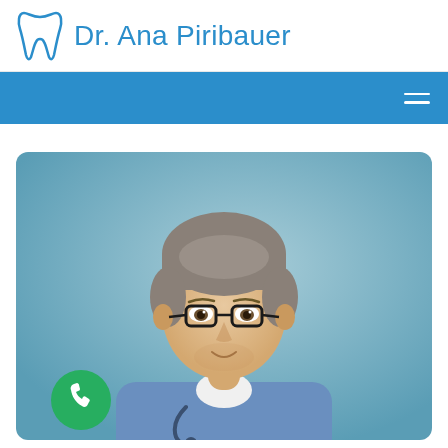Dr. Ana Piribauer
[Figure (photo): Male doctor wearing glasses and blue scrubs with a stethoscope, photographed against a light blue background. Green phone button overlay in bottom-left corner.]